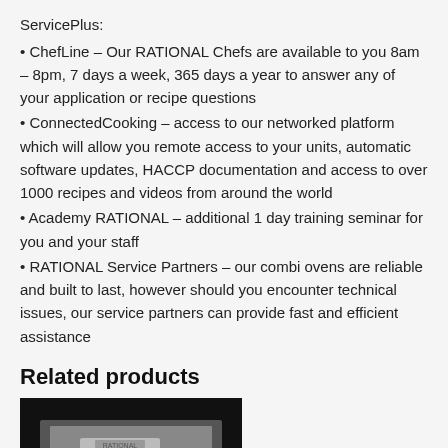ServicePlus:
• ChefLine – Our RATIONAL Chefs are available to you 8am – 8pm, 7 days a week, 365 days a year to answer any of your application or recipe questions
• ConnectedCooking – access to our networked platform which will allow you remote access to your units, automatic software updates, HACCP documentation and access to over 1000 recipes and videos from around the world
• Academy RATIONAL – additional 1 day training seminar for you and your staff
• RATIONAL Service Partners – our combi ovens are reliable and built to last, however should you encounter technical issues, our service partners can provide fast and efficient assistance
Related products
[Figure (photo): Product image on dark background]